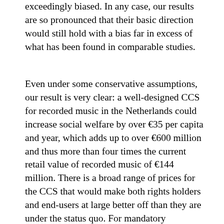exceedingly biased. In any case, our results are so pronounced that their basic direction would still hold with a bias far in excess of what has been found in comparable studies.
Even under some conservative assumptions, our result is very clear: a well-designed CCS for recorded music in the Netherlands could increase social welfare by over €35 per capita and year, which adds up to over €600 million and thus more than four times the current retail value of recorded music of €144 million. There is a broad range of prices for the CCS that would make both rights holders and end-users at large better off than they are under the status quo. For mandatory participation of all households with Internet connection this price range is from ca. €1.74 to €9.25